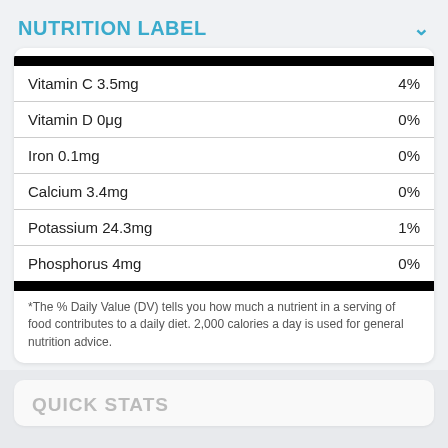NUTRITION LABEL
| Nutrient | %DV |
| --- | --- |
| Vitamin C 3.5mg | 4% |
| Vitamin D 0μg | 0% |
| Iron 0.1mg | 0% |
| Calcium 3.4mg | 0% |
| Potassium 24.3mg | 1% |
| Phosphorus 4mg | 0% |
*The % Daily Value (DV) tells you how much a nutrient in a serving of food contributes to a daily diet. 2,000 calories a day is used for general nutrition advice.
~ = missing data
Source
QUICK STATS